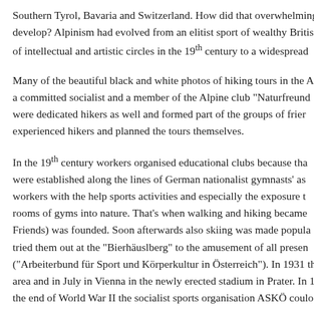Southern Tyrol, Bavaria and Switzerland. How did that overwhelming develop? Alpinism had evolved from an elitist sport of wealthy Britis of intellectual and artistic circles in the 19th century to a widespread
Many of the beautiful black and white photos of hiking tours in the A a committed socialist and a member of the Alpine club "Naturfreund were dedicated hikers as well and formed part of the groups of frier experienced hikers and planned the tours themselves.
In the 19th century workers organised educational clubs because tha were established along the lines of German nationalist gymnasts' as workers with the help sports activities and especially the exposure t rooms of gyms into nature. That's when walking and hiking became Friends) was founded. Soon afterwards also skiing was made popula tried them out at the "Bierhäuslberg" to the amusement of all presen ("Arbeiterbund für Sport und Körperkultur in Österreich"). In 1931 the area and in July in Vienna in the newly erected stadium in Prater. In 1 the end of World War II the socialist sports organisation ASKÖ coulo